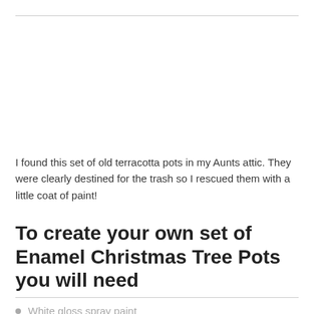I found this set of old terracotta pots in my Aunts attic. They were clearly destined for the trash so I rescued them with a little coat of paint!
To create your own set of Enamel Christmas Tree Pots you will need
White gloss spray paint
Red and black gloss paint